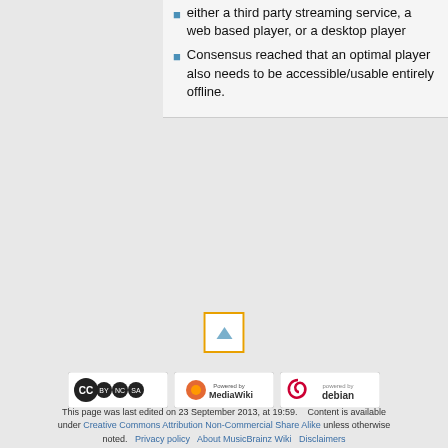either a third party streaming service, a web based player, or a desktop player
Consensus reached that an optimal player also needs to be accessible/usable entirely offline.
[Figure (other): Scroll to top button with orange border and upward arrow triangle]
[Figure (logo): Creative Commons Attribution Non-Commercial Share Alike badge]
[Figure (logo): Powered by MediaWiki badge]
[Figure (logo): Powered by Debian badge]
This page was last edited on 23 September 2013, at 19:59.    Content is available under Creative Commons Attribution Non-Commercial Share Alike unless otherwise noted.    Privacy policy    About MusicBrainz Wiki    Disclaimers